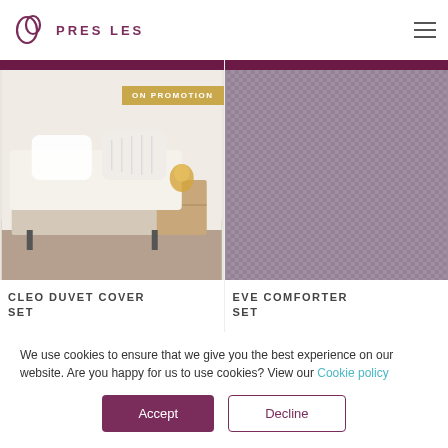PRES LES
[Figure (photo): White duvet and pillows on a bed with wooden nightstand, promotional product photo for Cleo Duvet Cover Set. Gold 'ON PROMOTION' badge in top right corner.]
[Figure (photo): Close-up of purple/mauve woven fabric texture for Eve Comforter Set.]
CLEO DUVET COVER SET
EVE COMFORTER SET
We use cookies to ensure that we give you the best experience on our website. Are you happy for us to use cookies? View our Cookie policy
Accept
Decline